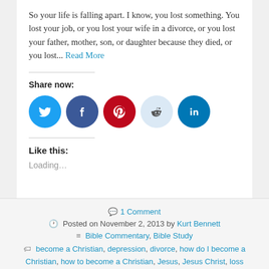So your life is falling apart. I know, you lost something. You lost your job, or you lost your wife in a divorce, or you lost your father, mother, son, or daughter because they died, or you lost... Read More
Share now:
[Figure (infographic): Social sharing icons: Twitter (blue circle), Facebook (dark blue circle), Pinterest (red circle), Reddit (light blue circle), LinkedIn (teal circle)]
Like this:
Loading...
1 Comment
Posted on November 2, 2013 by Kurt Bennett
Bible Commentary, Bible Study
become a Christian, depression, divorce, how do I become a Christian, how to become a Christian, Jesus, Jesus Christ, loss